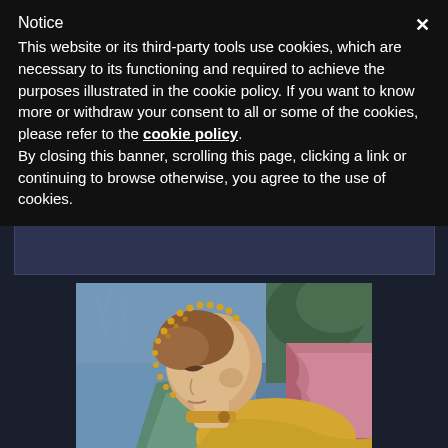Notice
This website or its third-party tools use cookies, which are necessary to its functioning and required to achieve the purposes illustrated in the cookie policy. If you want to know more or withdraw your consent to all or some of the cookies, please refer to the cookie policy. By closing this banner, scrolling this page, clicking a link or continuing to browse otherwise, you agree to the use of cookies.
[Figure (illustration): Detail of a medieval or Renaissance painting showing a figure with a decorative beaded headband, viewed from the side with bowed head, set against a blue background with green and pink drapery elements.]